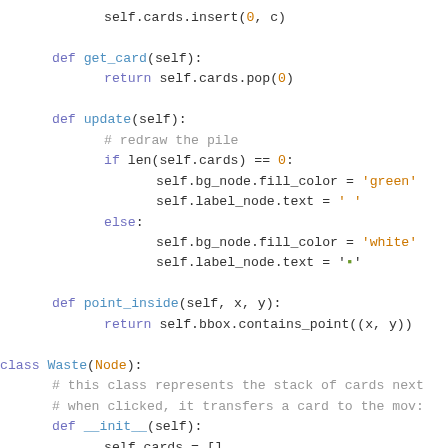self.cards.insert(0, c)

    def get_card(self):
        return self.cards.pop(0)

    def update(self):
        # redraw the pile
        if len(self.cards) == 0:
            self.bg_node.fill_color = 'green'
            self.label_node.text = ' '
        else:
            self.bg_node.fill_color = 'white'
            self.label_node.text = '[card]'

    def point_inside(self, x, y):
        return self.bbox.contains_point((x, y))

class Waste(Node):
    # this class represents the stack of cards next
    # when clicked, it transfers a card to the mov:
    def __init__(self):
        self.cards = []

        rect_path = ui.Path.rect(0, 0, 75, 100)